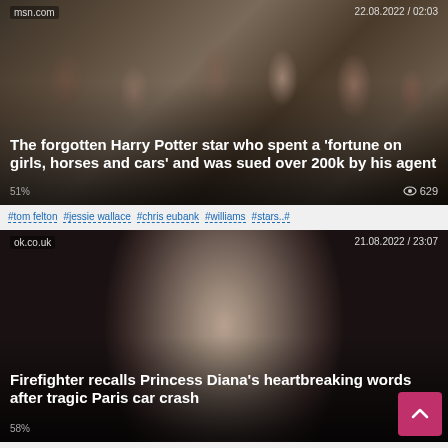[Figure (screenshot): News article card 1: Harry Potter cast image with headline overlay from msn.com, dated 22.08.2022 / 02:03, 629 views]
#tom felton  #jessie wallace  #chris eubank  #williams  #stars..#
[Figure (screenshot): News article card 2: Princess Diana photo with headline overlay from ok.co.uk, dated 21.08.2022 / 23:07]
#princess diana  #diana princessdiana  #dodi fayed  #my god..#